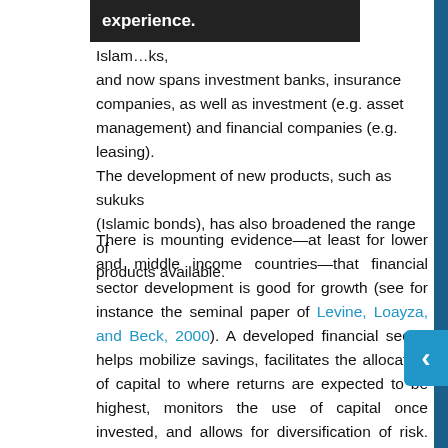Islam… [tooltip: experience.] …ks, and now spans investment banks, insurance companies, as well as investment (e.g. asset management) and financial companies (e.g. leasing). The development of new products, such as sukuks (Islamic bonds), has also broadened the range of products available.
There is mounting evidence—at least for lower and middle income countries—that financial sector development is good for growth (see for instance the seminal paper of Levine, Loayza, and Beck, 2000). A developed financial sector helps mobilize savings, facilitates the allocation of capital to where returns are expected to be highest, monitors the use of capital once invested, and allows for diversification of risk. Moreover, there is a growing consensus among economists that it does not matter much for economic growth whether the financial system is more bank-based or market-based (Allen and Gale, 2000; Levine, 2002). The particular institutional arrangements that provide financial services to the economy are not so important; what matters is the